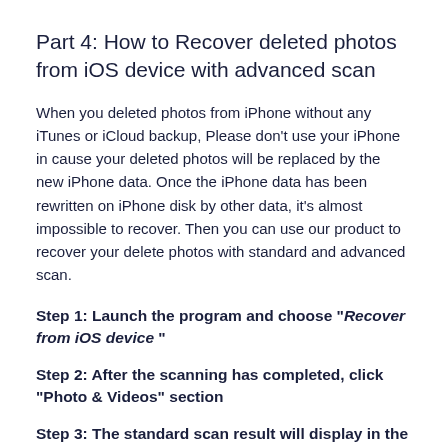Part 4: How to Recover deleted photos from iOS device with advanced scan
When you deleted photos from iPhone without any iTunes or iCloud backup, Please don’t use your iPhone in cause your deleted photos will be replaced by the new iPhone data. Once the iPhone data has been rewritten on iPhone disk by other data, it’s almost impossible to recover. Then you can use our product to recover your delete photos with standard and advanced scan.
Step 1: Launch the program and choose “Recover from iOS device “
Step 2: After the scanning has completed, click “Photo & Videos” section
Step 3: The standard scan result will display in the